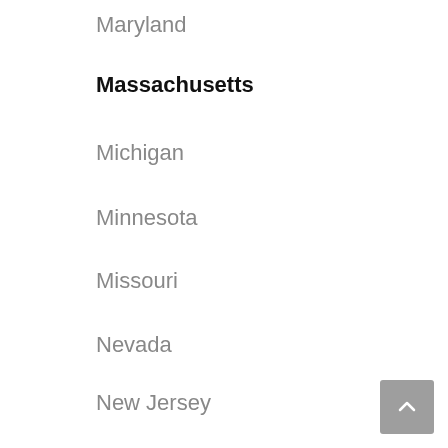Maryland
Massachusetts
Michigan
Minnesota
Missouri
Nevada
New Jersey
New York
North Carolina
Ohio